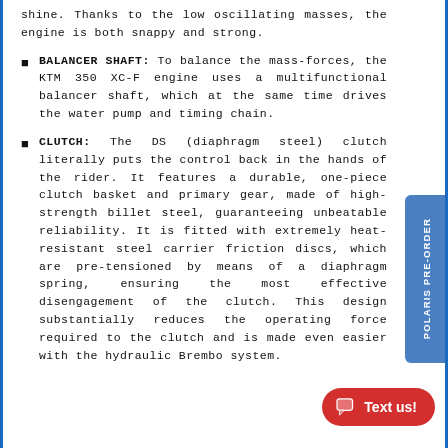shine. Thanks to the low oscillating masses, the engine is both snappy and strong.
BALANCER SHAFT: To balance the mass-forces, the KTM 350 XC-F engine uses a multifunctional balancer shaft, which at the same time drives the water pump and timing chain.
CLUTCH: The DS (diaphragm steel) clutch literally puts the control back in the hands of the rider. It features a durable, one-piece clutch basket and primary gear, made of high-strength billet steel, guaranteeing unbeatable reliability. It is fitted with extremely heat-resistant steel carrier friction discs, which are pre-tensioned by means of a diaphragm spring, ensuring the most effective disengagement of the clutch. This design substantially reduces the operating force required to the clutch and is made even easier with the hydraulic Brembo system.